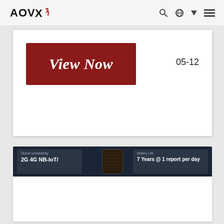AOVX
[Figure (screenshot): View Now button in dark red/crimson color with italic white serif text]
05-12
[Figure (screenshot): Dark navy panel showing product specs: Global connectivity 2G 4G NB-IoT/ on left, device image in center, Battery Life 7 Years @ 1 report per day on right]